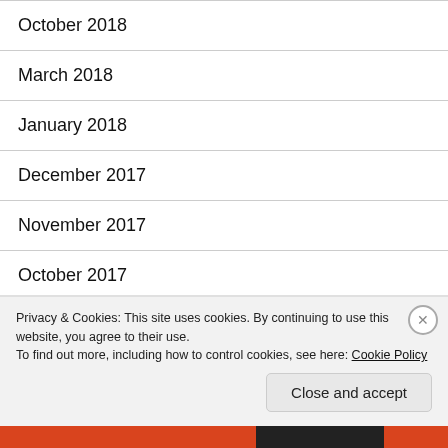October 2018
March 2018
January 2018
December 2017
November 2017
October 2017
September 2017
August 2017
Privacy & Cookies: This site uses cookies. By continuing to use this website, you agree to their use.
To find out more, including how to control cookies, see here: Cookie Policy
Close and accept